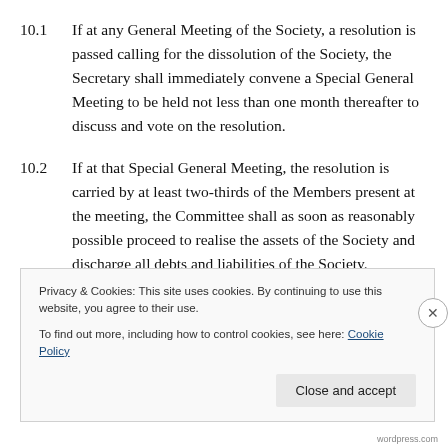10.1   If at any General Meeting of the Society, a resolution is passed calling for the dissolution of the Society, the Secretary shall immediately convene a Special General Meeting to be held not less than one month thereafter to discuss and vote on the resolution.
10.2   If at that Special General Meeting, the resolution is carried by at least two-thirds of the Members present at the meeting, the Committee shall as soon as reasonably possible proceed to realise the assets of the Society and discharge all debts and liabilities of the Society.
Privacy & Cookies: This site uses cookies. By continuing to use this website, you agree to their use.
To find out more, including how to control cookies, see here: Cookie Policy
Close and accept